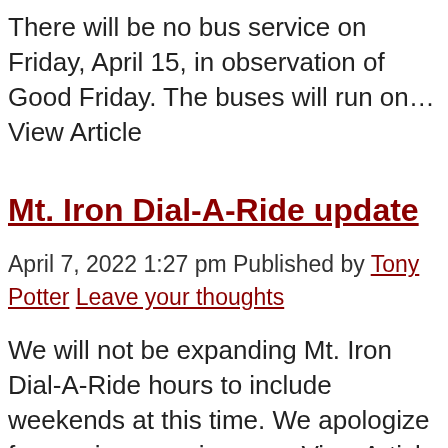There will be no bus service on Friday, April 15, in observation of Good Friday. The buses will run on… View Article
Mt. Iron Dial-A-Ride update
April 7, 2022 1:27 pm Published by Tony Potter Leave your thoughts
We will not be expanding Mt. Iron Dial-A-Ride hours to include weekends at this time. We apologize for any inconvenience…. View Article